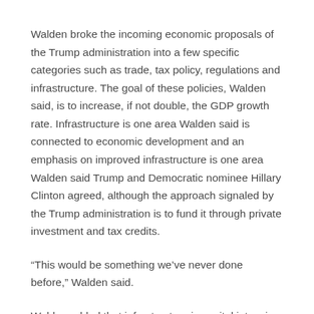Walden broke the incoming economic proposals of the Trump administration into a few specific categories such as trade, tax policy, regulations and infrastructure. The goal of these policies, Walden said, is to increase, if not double, the GDP growth rate. Infrastructure is one area Walden said is connected to economic development and an emphasis on improved infrastructure is one area Walden said Trump and Democratic nominee Hillary Clinton agreed, although the approach signaled by the Trump administration is to fund it through private investment and tax credits.
“This would be something we’ve never done before,” Walden said.
Walden added that infrastructure is capital intensive, not labor intensive, so we would not see “a lot of bang for our buck” in terms of job growth.